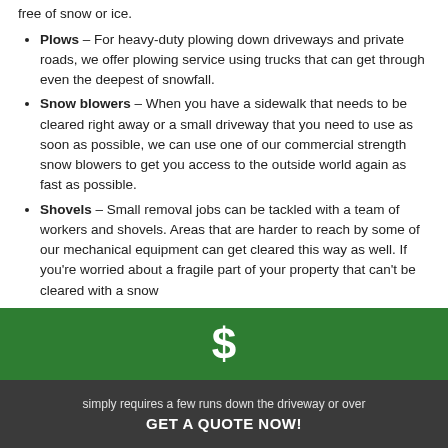free of snow or ice.
Plows – For heavy-duty plowing down driveways and private roads, we offer plowing service using trucks that can get through even the deepest of snowfall.
Snow blowers – When you have a sidewalk that needs to be cleared right away or a small driveway that you need to use as soon as possible, we can use one of our commercial strength snow blowers to get you access to the outside world again as fast as possible.
Shovels – Small removal jobs can be tackled with a team of workers and shovels. Areas that are harder to reach by some of our mechanical equipment can get cleared this way as well. If you're worried about a fragile part of your property that can't be cleared with a snow
[Figure (other): Green bar with white dollar sign icon]
simply requires a few runs down the driveway or over
GET A QUOTE NOW!